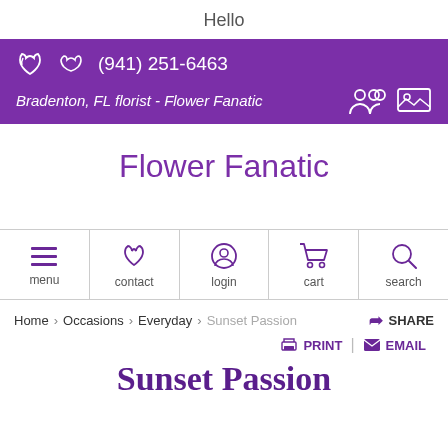Hello
(941) 251-6463
Bradenton, FL florist - Flower Fanatic
Flower Fanatic
[Figure (screenshot): Navigation bar with menu, contact, login, cart, search icons]
Home  Occasions  Everyday  Sunset Passion   SHARE
PRINT  EMAIL
Sunset Passion